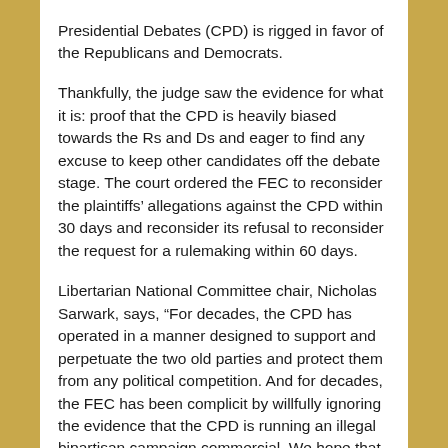Presidential Debates (CPD) is rigged in favor of the Republicans and Democrats.
Thankfully, the judge saw the evidence for what it is: proof that the CPD is heavily biased towards the Rs and Ds and eager to find any excuse to keep other candidates off the debate stage. The court ordered the FEC to reconsider the plaintiffs' allegations against the CPD within 30 days and reconsider its refusal to reconsider the request for a rulemaking within 60 days.
Libertarian National Committee chair, Nicholas Sarwark, says, “For decades, the CPD has operated in a manner designed to support and perpetuate the two old parties and protect them from any political competition. And for decades, the FEC has been complicit by willfully ignoring the evidence that the CPD is running an illegal bipartisan campaign commercial. We hope that this ruling will get the FEC to start following and enforcing the law fairly.”
He continues, “Kudos to Alexandra Shapiro for her